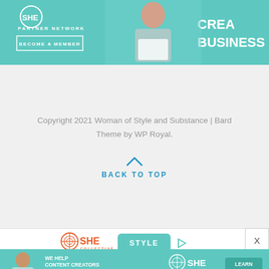[Figure (screenshot): SHE Media Partner Network banner ad with teal background, woman with laptop, text 'BECOME A MEMBER' and 'CREATE YOUR BUSINESS']
Copyright 2021 Woman of Style and Substance | Bard Theme by WP Royal.
BACK TO TOP
[Figure (screenshot): SHE Collective ad with orange logo, teal STYLE button, play button icon, Learn More | Privacy links]
[Figure (screenshot): SHE Media Partner Network bottom banner ad with teal background, woman with laptop, text 'WE HELP CONTENT CREATORS GROW BUSINESSES THROUGH...' and 'LEARN MORE' button]